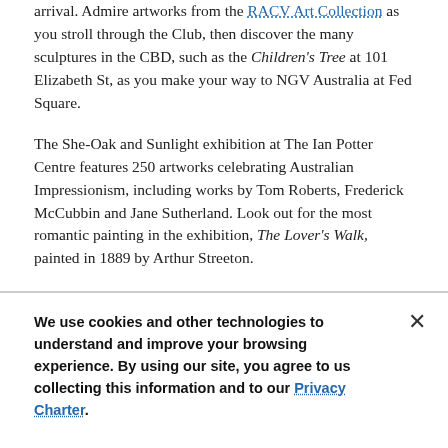arrival. Admire artworks from the RACV Art Collection as you stroll through the Club, then discover the many sculptures in the CBD, such as the Children's Tree at 101 Elizabeth St, as you make your way to NGV Australia at Fed Square.
The She-Oak and Sunlight exhibition at The Ian Potter Centre features 250 artworks celebrating Australian Impressionism, including works by Tom Roberts, Frederick McCubbin and Jane Sutherland. Look out for the most romantic painting in the exhibition, The Lover's Walk, painted in 1889 by Arthur Streeton.
We use cookies and other technologies to understand and improve your browsing experience. By using our site, you agree to us collecting this information and to our Privacy Charter.